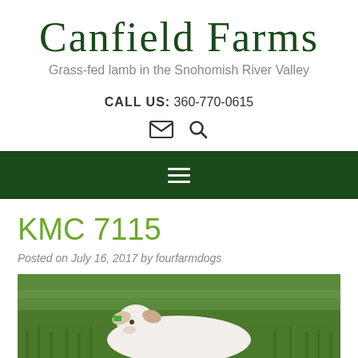Canfield Farms
Grass-fed lamb in the Snohomish River Valley
CALL US: 360-770-0615
[Figure (infographic): Email and search icons]
[Figure (infographic): Dark green navigation bar with hamburger menu icon (three horizontal white lines)]
KMC 7115
Posted on July 16, 2017 by fourfarmdogs
[Figure (photo): A white lamb resting in green grass field]